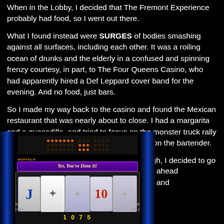When in the Lobby, I decided that The Fremont Experience probably had food, so I went out there.
What I found instead were SURGES of bodies smashing against all surfaces, including each other. It was a roiling ocean of drunks and the elderly in a confused and spinning frenzy courtesy, in part, to The Four Queens Casino, who had apparently hired a Def Leppard cover band for the evening. And no food, just bars.
So I made my way back to the casino and found the Mexican restaurant that was nearly about to close. I had a margarita and a quesadilla, and tried to focus on the monster truck rally while some completely disgusting jerks hit on the bartender.
Instead of going back up to my room, though, I decided to go ahead and
[Figure (photo): A casino slot machine screen showing a game with 'Yes, You've Done It!' text banner, reels showing J, a wolf/husky image, and 10 symbols, with blue neon frame sides and a dot-matrix display at top.]